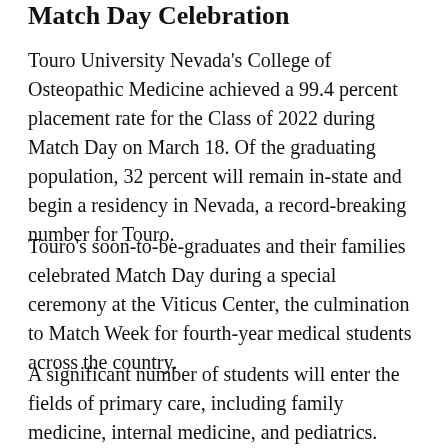Match Day Celebration
Touro University Nevada's College of Osteopathic Medicine achieved a 99.4 percent placement rate for the Class of 2022 during Match Day on March 18. Of the graduating population, 32 percent will remain in-state and begin a residency in Nevada, a record-breaking number for Touro.
Touro's soon-to-be-graduates and their families celebrated Match Day during a special ceremony at the Viticus Center, the culmination to Match Week for fourth-year medical students across the country.
A significant number of students will enter the fields of primary care, including family medicine, internal medicine, and pediatrics.